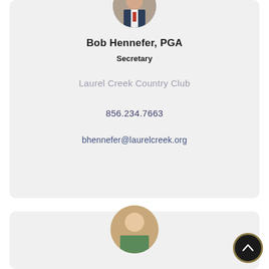[Figure (photo): Circular portrait photo of Bob Hennefer in suit and tie, partially visible at top of card]
Bob Hennefer, PGA
Secretary
Laurel Creek Country Club
856.234.7663
bhennefer@laurelcreek.org
[Figure (photo): Circular portrait photo of another person, partially visible at bottom of page in second card]